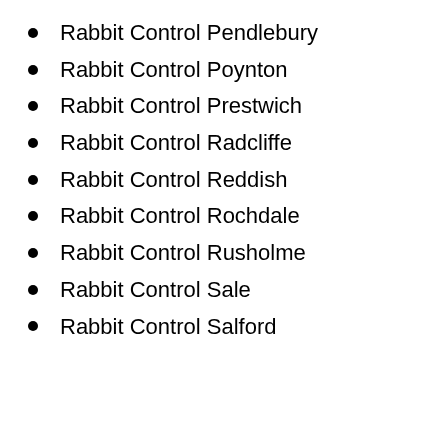Rabbit Control Pendlebury
Rabbit Control Poynton
Rabbit Control Prestwich
Rabbit Control Radcliffe
Rabbit Control Reddish
Rabbit Control Rochdale
Rabbit Control Rusholme
Rabbit Control Sale
Rabbit Control Salford